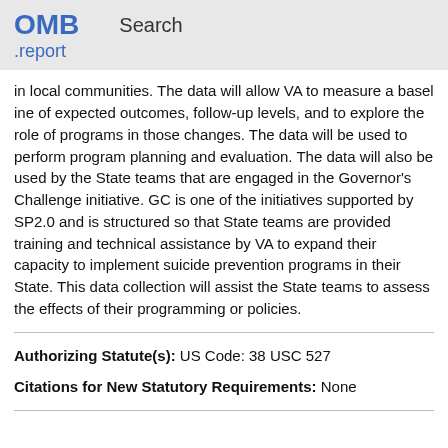OMB   Search
.report
in local communities. The data will allow VA to measure a baseline of expected outcomes, follow-up levels, and to explore the role of programs in those changes. The data will be used to perform program planning and evaluation. The data will also be used by the State teams that are engaged in the Governor's Challenge initiative. GC is one of the initiatives supported by SP2.0 and is structured so that State teams are provided training and technical assistance by VA to expand their capacity to implement suicide prevention programs in their State. This data collection will assist the State teams to assess the effects of their programming or policies.
Authorizing Statute(s): US Code: 38 USC 527
Citations for New Statutory Requirements: None